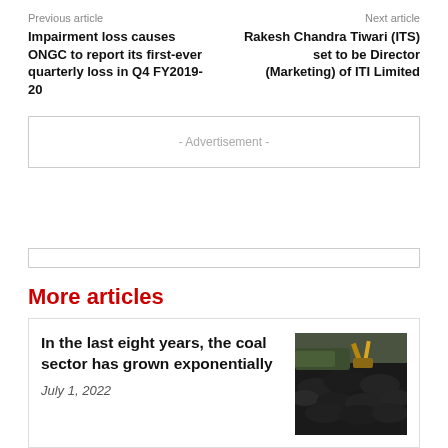Previous article
Impairment loss causes ONGC to report its first-ever quarterly loss in Q4 FY2019-20
Next article
Rakesh Chandra Tiwari (ITS) set to be Director (Marketing) of ITI Limited
- Advertisement -
More articles
In the last eight years, the coal sector has grown exponentially
July 1, 2022
[Figure (photo): Coal mining site with heavy machinery and large coal stockpile]